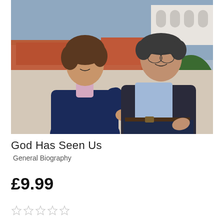[Figure (photo): A couple standing together outdoors, smiling. The woman on the left wears a navy blue cardigan over a light pink collared shirt. The man on the right wears a light blue shirt under a dark gray blazer. Background shows terracotta rooftops, white arched architecture, and green foliage under a blue sky.]
God Has Seen Us
General Biography
£9.99
[Figure (other): Five empty star rating icons (outline only, no fill).]